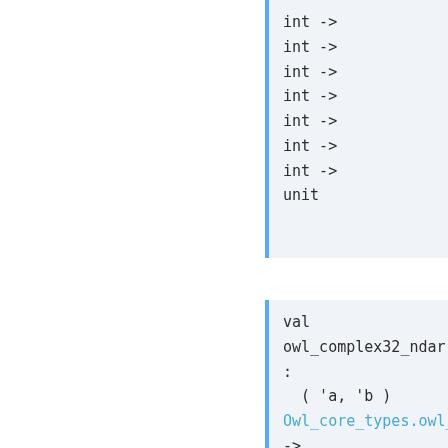int ->
int ->
int ->
int ->
int ->
int ->
int ->
unit
val
owl_complex32_ndarray_c
:
  ( 'a, 'b )
Owl_core_types.owl_arr
->
  ( 'a, 'b )
Owl_core_types.owl_arr
->